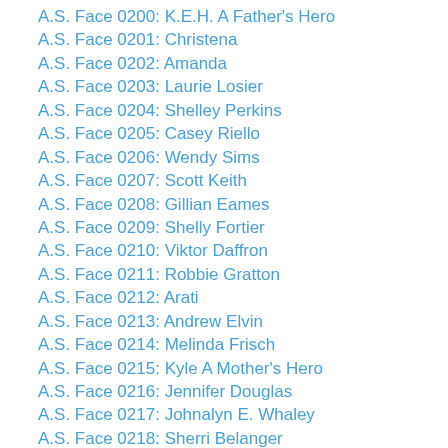A.S. Face 0200: K.E.H. A Father's Hero
A.S. Face 0201: Christena
A.S. Face 0202: Amanda
A.S. Face 0203: Laurie Losier
A.S. Face 0204: Shelley Perkins
A.S. Face 0205: Casey Riello
A.S. Face 0206: Wendy Sims
A.S. Face 0207: Scott Keith
A.S. Face 0208: Gillian Eames
A.S. Face 0209: Shelly Fortier
A.S. Face 0210: Viktor Daffron
A.S. Face 0211: Robbie Gratton
A.S. Face 0212: Arati
A.S. Face 0213: Andrew Elvin
A.S. Face 0214: Melinda Frisch
A.S. Face 0215: Kyle A Mother's Hero
A.S. Face 0216: Jennifer Douglas
A.S. Face 0217: Johnalyn E. Whaley
A.S. Face 0218: Sherri Belanger
A.S. Face 0219: Geoff Hancock